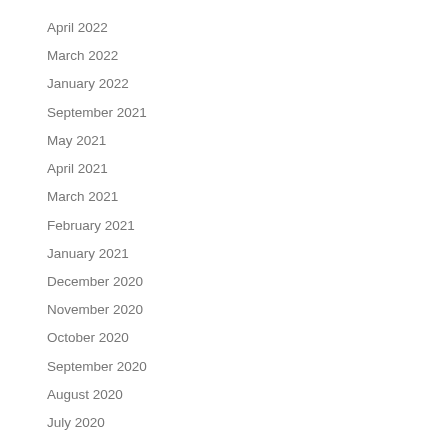April 2022
March 2022
January 2022
September 2021
May 2021
April 2021
March 2021
February 2021
January 2021
December 2020
November 2020
October 2020
September 2020
August 2020
July 2020